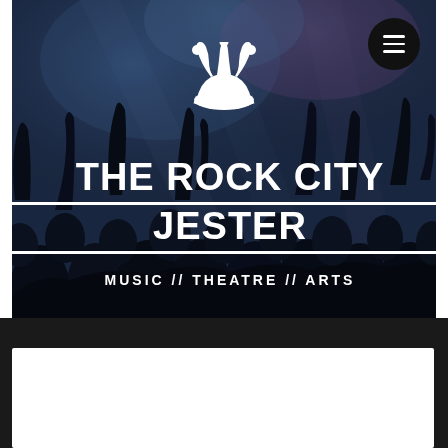[Figure (illustration): Concert crowd background with blue-purple stage lighting and silhouettes of raised hands, overlaid with The Rock City Jester website header]
THE ROCK CITY JESTER
MUSIC // THEATRE // ARTS
May 6, 2020  ·  2 min